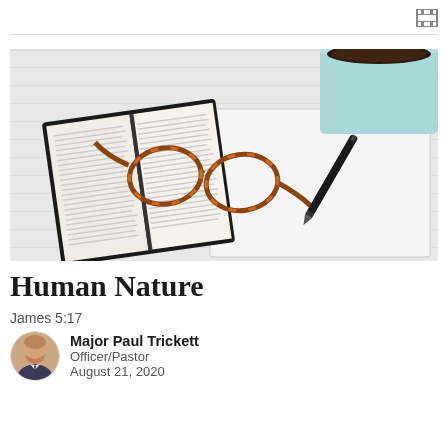[Figure (photo): Open Bible with tortoiseshell reading glasses resting on it, a black pen, and a light blue coffee mug on a white surface]
Human Nature
James 5:17
Major Paul Trickett
Officer/Pastor
August 21, 2020